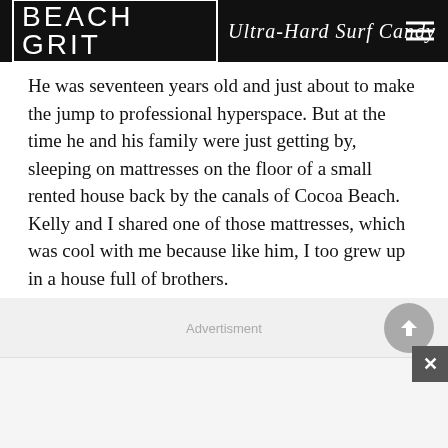BEACH GRIT Ultra-Hard Surf Candy
He was seventeen years old and just about to make the jump to professional hyperspace. But at the time he and his family were just getting by, sleeping on mattresses on the floor of a small rented house back by the canals of Cocoa Beach. Kelly and I shared one of those mattresses, which was cool with me because like him, I too grew up in a house full of brothers.
And so was created that most famous of opening lines in any feature written about Kelly, “He sleeps like an angel”.
Advertisment